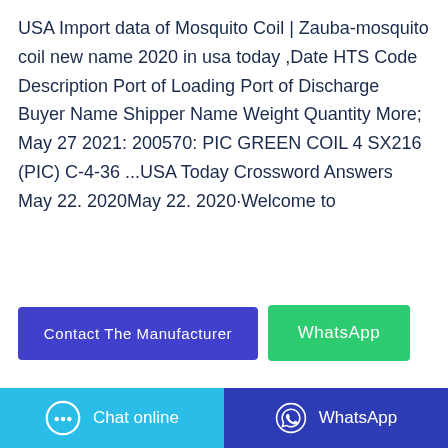USA Import data of Mosquito Coil | Zauba-mosquito coil new name 2020 in usa today ,Date HTS Code Description Port of Loading Port of Discharge Buyer Name Shipper Name Weight Quantity More; May 27 2021: 200570: PIC GREEN COIL 4 SX216 (PIC) C-4-36 ...USA Today Crossword Answers May 22. 2020May 22. 2020·Welcome to
[Figure (other): Two call-to-action buttons: 'Contact The Manufacturer' (blue/purple) and 'WhatsApp' (green)]
[Figure (photo): Product image area showing a mosquito coil package with green packaging, partially visible at the bottom. Labeled 'Uni' to the right.]
[Figure (other): Bottom navigation bar with 'Chat online' button (light blue) and 'WhatsApp' button (dark blue), each with respective icons.]